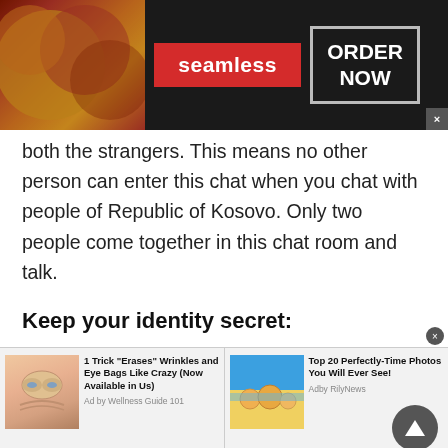[Figure (screenshot): Seamless food delivery advertisement banner with pizza image on left, red Seamless logo in center, and ORDER NOW box on right against dark background]
both the strangers. This means no other person can enter this chat when you chat with people of Republic of Kosovo. Only two people come together in this chat room and talk.
Keep your identity secret:
Talkwithstranger allows its users to keep their identity safe. This means people are not obliged to use their real names to chat with people. You can
[Figure (screenshot): Two advertisement tiles at bottom: left ad shows eye cream product with text '1 Trick Erases Wrinkles and Eye Bags Like Crazy (Now Available in Us)' by Wellness Guide 101; right ad shows beach photo with text 'Top 20 Perfectly-Time Photos You Will Ever See!' by Adby RilyNews]